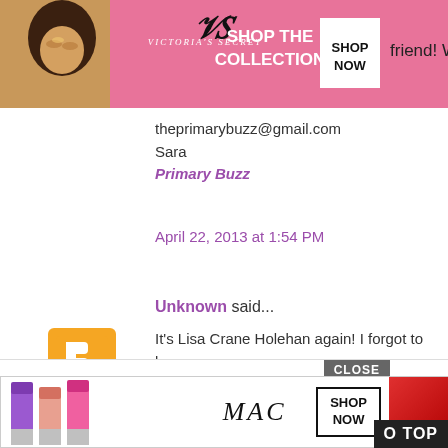[Figure (screenshot): Victoria's Secret advertisement banner with model, VS logo, 'SHOP THE COLLECTION' text, and 'SHOP NOW' button, with 'friend! W' text cut off on right]
theprimarybuzz@gmail.com
Sara
Primary Buzz
April 22, 2013 at 1:54 PM
Unknown said...
It's Lisa Crane Holehan again! I forgot to leave my ema lholehan@gmail.com
Thanks!
April 22, 2013 at 1:55 PM
[Figure (screenshot): MAC cosmetics advertisement with lipsticks and 'SHOP NOW' button and 'O TOP' button]